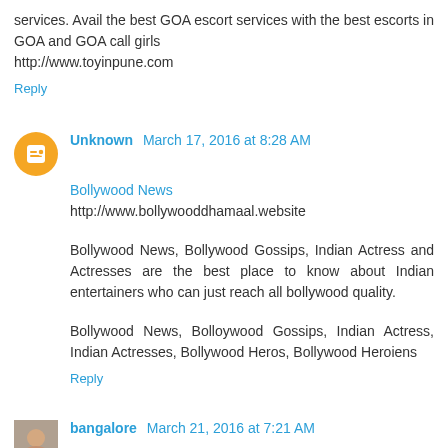services. Avail the best GOA escort services with the best escorts in GOA and GOA call girls http://www.toyinpune.com
Reply
Unknown March 17, 2016 at 8:28 AM
Bollywood News
http://www.bollywooddhamaal.website
Bollywood News, Bollywood Gossips, Indian Actress and Actresses are the best place to know about Indian entertainers who can just reach all bollywood quality.
Bollywood News, Bolloywood Gossips, Indian Actress, Indian Actresses, Bollywood Heros, Bollywood Heroiens
Reply
bangalore March 21, 2016 at 7:21 AM